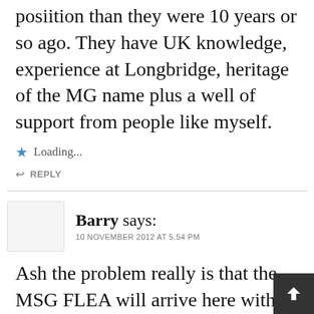posiition than they were 10 years or so ago. They have UK knowledge, experience at Longbridge, heritage of the MG name plus a well of support from people like myself.
Loading...
REPLY
Barry says:
10 NOVEMBER 2012 AT 5.54 PM
Ash the problem really is that the MSG FLEA will arrive here with a completely wrong engine and emissions which will be